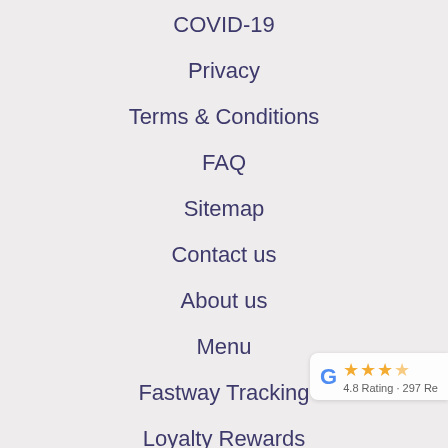COVID-19
Privacy
Terms & Conditions
FAQ
Sitemap
Contact us
About us
Menu
Fastway Tracking
Loyalty Rewards
Specials
[Figure (other): Google rating badge showing 4.8 Rating - 297 Reviews with star icons]